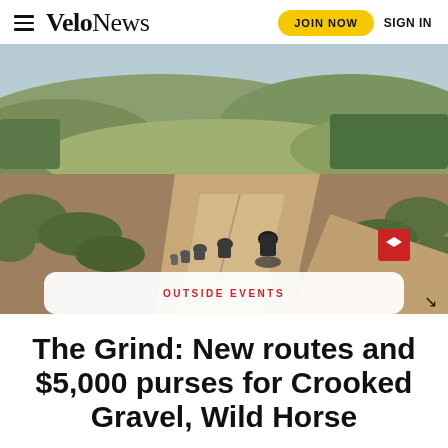VeloNews  JOIN NOW  SIGN IN
[Figure (photo): Group of cyclists riding on a winding gravel/dirt road through hilly shrubland terrain, photographed from behind the lead rider. Road sign visible on right. Outdoor daylight landscape.]
OUTSIDE EVENTS
The Grind: New routes and $5,000 purses for Crooked Gravel, Wild Horse